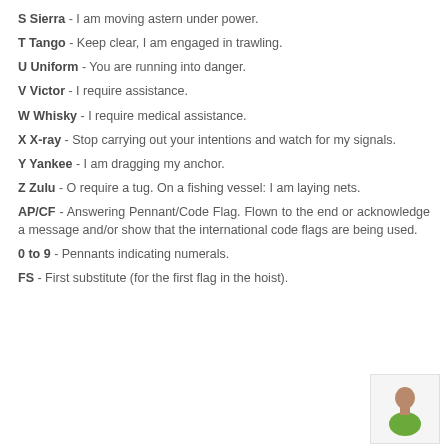S Sierra - I am moving astern under power.
T Tango - Keep clear, I am engaged in trawling.
U Uniform - You are running into danger.
V Victor - I require assistance.
W Whisky - I require medical assistance.
X X-ray - Stop carrying out your intentions and watch for my signals.
Y Yankee - I am dragging my anchor.
Z Zulu - O require a tug. On a fishing vessel: I am laying nets.
AP/CF - Answering Pennant/Code Flag. Flown to the end or acknowledge a message and/or show that the international code flags are being used.
0 to 9 - Pennants indicating numerals.
FS - First substitute (for the first flag in the hoist).